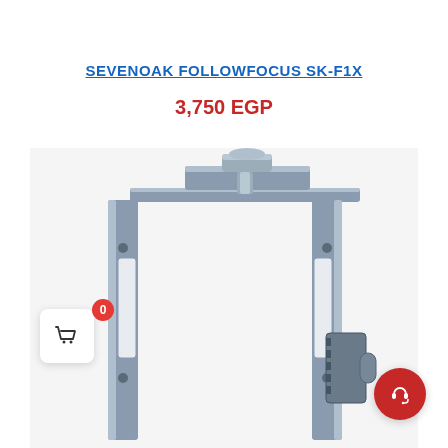SEVENOAK FOLLOWFOCUS SK-F1X
3,750 EGP
[Figure (photo): Product photo of the Sevenoak FollowFocus SK-F1X camera rig accessory, shown as a metallic grey frame/cage structure with rails, mount points, and adjustment mechanisms. The frame has a U-shape with vertical rails on left and right, connected at the top, with a focus gear mechanism visible on the right side.]